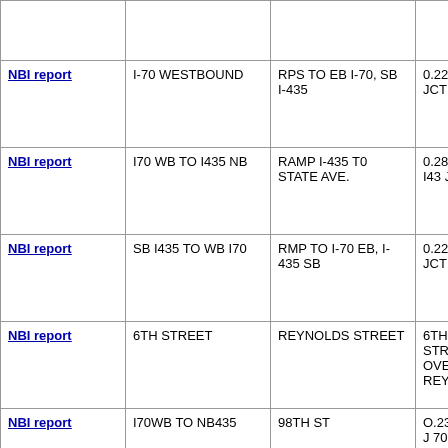|  |  |  |  |
| --- | --- | --- | --- |
|  |  |  |  |
| NBI report | I-70 WESTBOUND | RPS TO EB I-70, SB I-435 | 0.22 MI. W JCT 435 I-70 |
| NBI report | I70 WB TO I435 NB | RAMP I-435 T0 STATE AVE. | 0.28 MI NE I43 JCT |
| NBI report | SB I435 TO WB I70 | RMP TO I-70 EB, I-435 SB | 0.22 MI. W JCT 435 I-70 |
| NBI report | 6TH STREET | REYNOLDS STREET | 6TH STREET OVER REYNO |
| NBI report | I70WB TO NB435 | 98TH ST | O.23 MI. NE J 70I-435 |